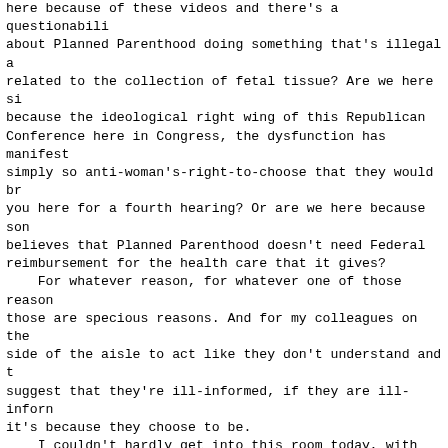here because of these videos and there's a questionabili about Planned Parenthood doing something that's illegal a related to the collection of fetal tissue? Are we here si because the ideological right wing of this Republican Conference here in Congress, the dysfunction has manifest simply so anti-woman's-right-to-choose that they would br you here for a fourth hearing? Or are we here because son believes that Planned Parenthood doesn't need Federal reimbursement for the health care that it gives?
    For whatever reason, for whatever one of those reason those are specious reasons. And for my colleagues on the side of the aisle to act like they don't understand and t suggest that they're ill-informed, if they are ill-inforn it's because they choose to be.
    I couldn't hardly get into this room today, with all people on the outside in the hallways that were trying to in here to be supportive of Planned Parenthood, because w and recognize the impact that Planned Parenthood has had healthy lives--not just women's lives but including men's lives.
    We know in New Jersey, in my State, where this Govern Chris Christie, spent so much of his leverage defunding P Parenthood and then suggesting that the federally qualifi healthcare centers would be able to pick up the slack, th came in and testified that they couldn't possibly accommo all of the deficiencies that would occur without Planned Parenthood. We know that--the work that you do.
    So I just want to do a couple things, and I want to c quickly.
    I want to acknowledge all the young women and men in